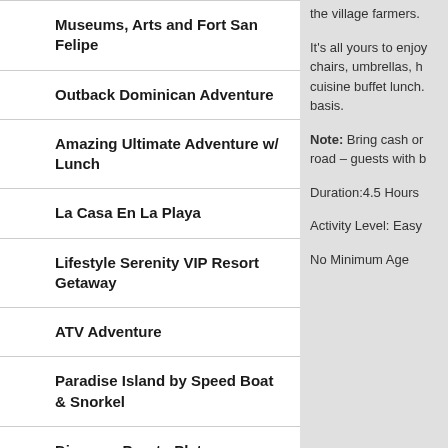Museums, Arts and Fort San Felipe
Outback Dominican Adventure
Amazing Ultimate Adventure w/ Lunch
La Casa En La Playa
Lifestyle Serenity VIP Resort Getaway
ATV Adventure
Paradise Island by Speed Boat & Snorkel
Discover Puerto Plata Traditions & Local Flavors
Outback Terracross Adventure
the village farmers.
It's all yours to enjoy chairs, umbrellas, h cuisine buffet lunch. basis.
Note: Bring cash or road – guests with b
Duration:4.5 Hours
Activity Level: Easy
No Minimum Age